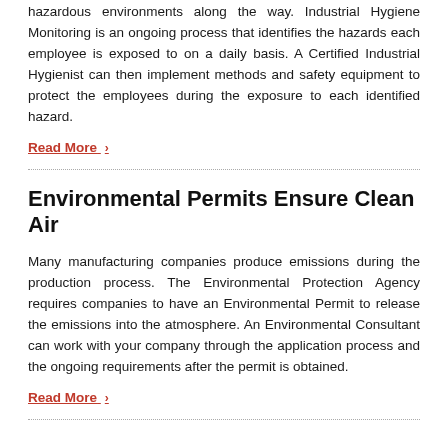hazardous environments along the way. Industrial Hygiene Monitoring is an ongoing process that identifies the hazards each employee is exposed to on a daily basis. A Certified Industrial Hygienist can then implement methods and safety equipment to protect the employees during the exposure to each identified hazard.
Read More ›
Environmental Permits Ensure Clean Air
Many manufacturing companies produce emissions during the production process. The Environmental Protection Agency requires companies to have an Environmental Permit to release the emissions into the atmosphere. An Environmental Consultant can work with your company through the application process and the ongoing requirements after the permit is obtained.
Read More ›